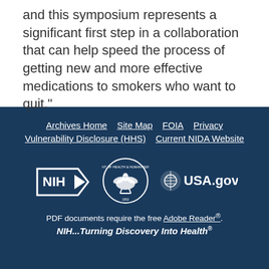and this symposium represents a significant first step in a collaboration that can help speed the process of getting new and more effective medications to smokers who want to quit."
Archives Home  Site Map  FOIA  Privacy  Vulnerability Disclosure (HHS)  Current NIDA Website
NIH logo | HHS logo | USA.gov logo
PDF documents require the free Adobe Reader®.
NIH...Turning Discovery Into Health®